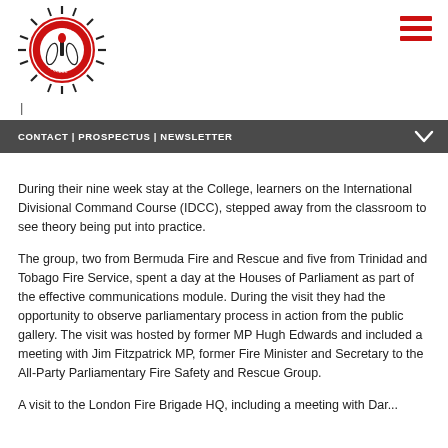[Figure (logo): Fire Service College circular logo with sun/star rays, red and black color scheme]
[Figure (other): Hamburger menu icon (three horizontal red lines)]
|
CONTACT | PROSPECTUS | NEWSLETTER
During their nine week stay at the College, learners on the International Divisional Command Course (IDCC), stepped away from the classroom to see theory being put into practice.
The group, two from Bermuda Fire and Rescue and five from Trinidad and Tobago Fire Service, spent a day at the Houses of Parliament as part of the effective communications module. During the visit they had the opportunity to observe parliamentary process in action from the public gallery. The visit was hosted by former MP Hugh Edwards and included a meeting with Jim Fitzpatrick MP, former Fire Minister and Secretary to the All-Party Parliamentary Fire Safety and Rescue Group.
A visit to the London Fire Brigade HQ, including a meeting with Dar...